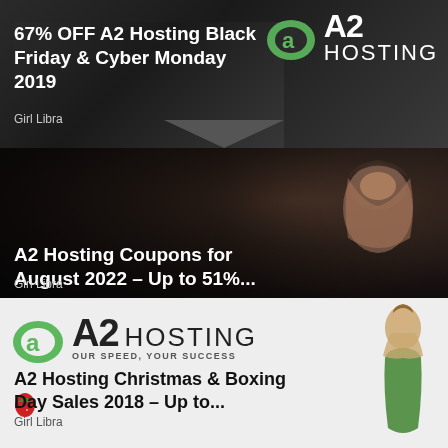[Figure (screenshot): Article card with A2 Hosting logo on dark gradient background]
67% OFF A2 Hosting Black Friday & Cyber Monday 2019
Girl Libra
[Figure (photo): Dark photo of a woman, article card background]
A2 Hosting Coupons for August 2022 – Up to 51%...
Girl Libra
[Figure (logo): A2 Hosting logo with tagline OUR SPEED, YOUR SUCCESS and woman in green dress]
A2 Hosting Christmas & Boxing Day Sales 2018 – Up to...
Girl Libra